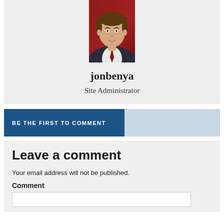[Figure (photo): Headshot photo of a young man in a suit against a red background]
jonbenya
Site Administrator
BE THE FIRST TO COMMENT
Leave a comment
Your email address will not be published.
Comment